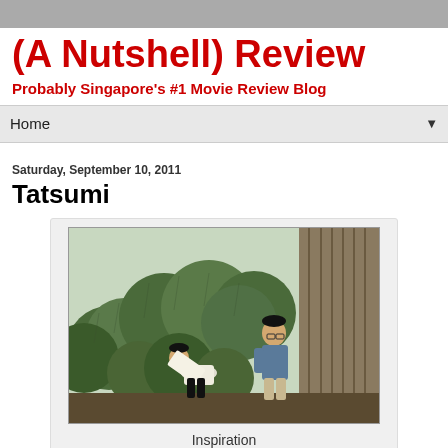(A Nutshell) Review
Probably Singapore's #1 Movie Review Blog
Home
Saturday, September 10, 2011
Tatsumi
[Figure (illustration): Animated manga-style illustration showing two figures near rounded topiary bushes. One figure in white shirt bows forward, another in blue stands upright near vertical wooden slats.]
Inspiration